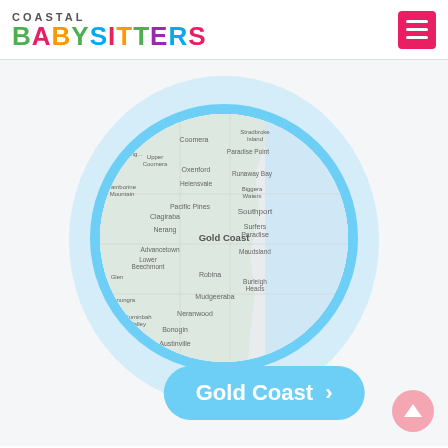[Figure (logo): Coastal Babysitters logo with colorful lettering]
[Figure (map): Map showing Gold Coast region of Queensland, Australia, displayed in a circular frame with a blue border, surrounded by a light blue blob shape. A blue pill-shaped button at the bottom reads 'Gold Coast >']